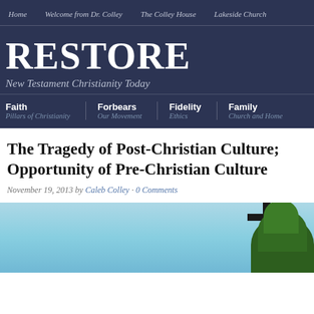Home  Welcome from Dr. Colley  The Colley House  Lakeside Church
RESTORE
New Testament Christianity Today
Faith – Pillars of Christianity
Forbears – Our Movement
Fidelity – Ethics
Family – Church and Home
The Tragedy of Post-Christian Culture; Opportunity of Pre-Christian Culture
November 19, 2013 by Caleb Colley · 0 Comments
[Figure (photo): Photo of a wooden cross against a blue sky with tree foliage in the lower right]